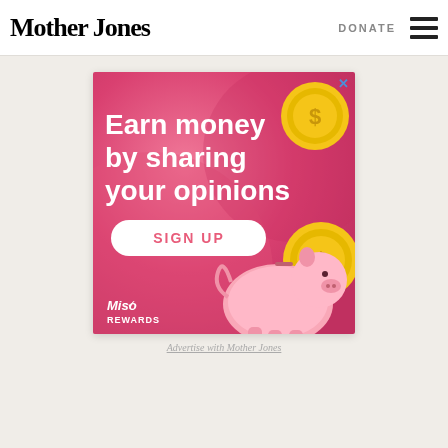Mother Jones | DONATE
[Figure (illustration): Advertisement banner for MisoRewards survey platform. Pink/red gradient background with white bold text reading 'Earn money by sharing your opinions', a white oval SIGN UP button in pink text, cartoon piggy bank illustration, and gold coin graphics with dollar signs. MisoRewards logo in bottom left.]
Advertise with Mother Jones